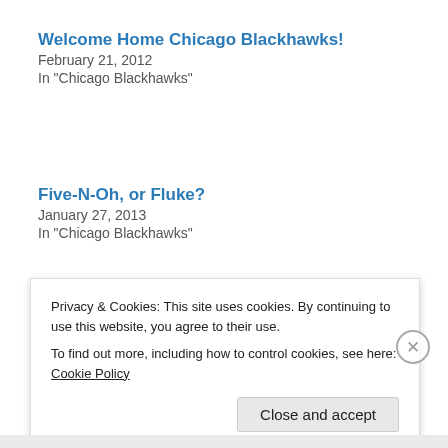Welcome Home Chicago Blackhawks!
February 21, 2012
In "Chicago Blackhawks"
Five-N-Oh, or Fluke?
January 27, 2013
In "Chicago Blackhawks"
Blackhawks v Avalanche
February 7, 2012
In "Chicago Blackhawks"
Privacy & Cookies: This site uses cookies. By continuing to use this website, you agree to their use.
To find out more, including how to control cookies, see here: Cookie Policy
Close and accept